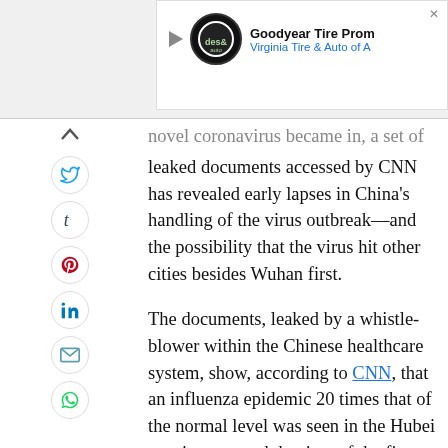[Figure (screenshot): Partial advertisement banner showing Goodyear Tire promotion with Virginia Tire & Auto of A... text, logo icon, and play/close icons]
novel coronavirus became in, a set of leaked documents accessed by CNN has revealed early lapses in China's handling of the virus outbreak—and the possibility that the virus hit other cities besides Wuhan first.
The documents, leaked by a whistle-blower within the Chinese healthcare system, show, according to CNN, that an influenza epidemic 20 times that of the normal level was seen in the Hubei province around the time of the first recorded coronavirus cases, with the cities of Yichang and Xianning harder-hit than Wuhan, the city most commonly...